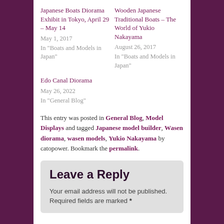Japanese Boats Diorama Exhibit in Tokyo, April 29 – May 14
May 1, 2017
In "Boats and Models in Japan"
Wooden Japanese Traditional Boats – The World of Yukio Nakayama
August 26, 2017
In "Boats and Models in Japan"
Edo Canal Diorama
May 26, 2022
In "General Blog"
This entry was posted in General Blog, Model Displays and tagged Japanese model builder, Wasen diorama, wasen models, Yukio Nakayama by catopower. Bookmark the permalink.
Leave a Reply
Your email address will not be published. Required fields are marked *